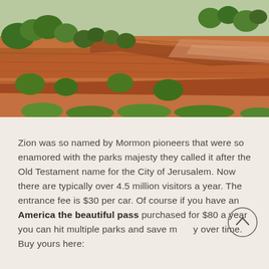[Figure (photo): Aerial or hillside view of Zion National Park showing red rock cliffs with green trees and shrubs covering the slopes]
Zion was so named by Mormon pioneers that were so enamored with the parks majesty they called it after the Old Testament name for the City of Jerusalem. Now there are typically over 4.5 million visitors a year. The entrance fee is $30 per car. Of course if you have an America the beautiful pass purchased for $80 a year you can hit multiple parks and save money over time.
Buy yours here: